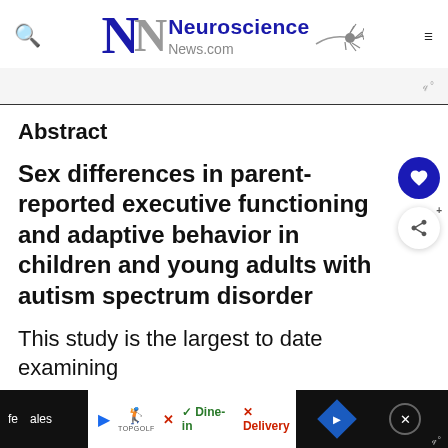[Figure (logo): Neuroscience News.com logo with stylized NN letters in blue and gray, neuron graphic, search icon, and hamburger menu]
Abstract
Sex differences in parent-reported executive functioning and adaptive behavior in children and young adults with autism spectrum disorder
This study is the largest to date examining
[Figure (other): Bottom advertisement banner showing Topgolf ad with Dine-in and Delivery options, navigation arrow, and close button]